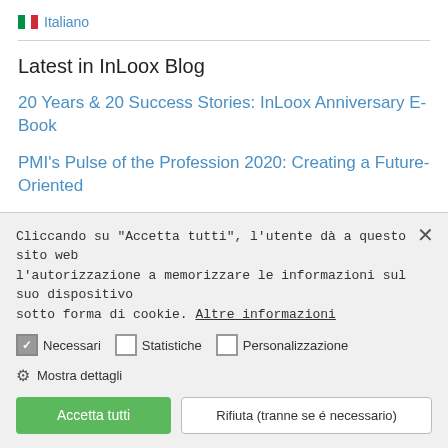Italiano
Latest in InLoox Blog
20 Years & 20 Success Stories: InLoox Anniversary E-Book
PMI's Pulse of the Profession 2020: Creating a Future-Oriented Project Management Culture
Cliccando su "Accetta tutti", l'utente dà a questo sito web l'autorizzazione a memorizzare le informazioni sul suo dispositivo sotto forma di cookie. Altre informazioni
Necessari
Statistiche
Personalizzazione
Mostra dettagli
Accetta tutti
Rifiuta (tranne se é necessario)